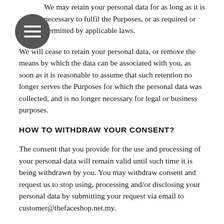We may retain your personal data for as long as it is necessary to fulfil the Purposes, or as required or permitted by applicable laws.
We will cease to retain your personal data, or remove the means by which the data can be associated with you, as soon as it is reasonable to assume that such retention no longer serves the Purposes for which the personal data was collected, and is no longer necessary for legal or business purposes.
HOW TO WITHDRAW YOUR CONSENT?
The consent that you provide for the use and processing of your personal data will remain valid until such time it is being withdrawn by you. You may withdraw consent and request us to stop using, processing and/or disclosing your personal data by submitting your request via email to customer@thefaceshop.net.my.
Please note that withdrawing consent does not affect our right to continue to use, process, and disclose your personal data where such use, processing, and disclosure without consent is permitted or required under applicable